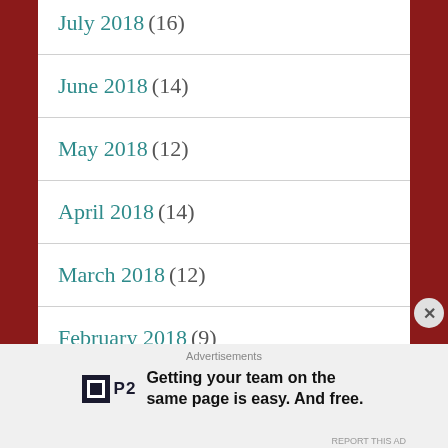July 2018 (16)
June 2018 (14)
May 2018 (12)
April 2018 (14)
March 2018 (12)
February 2018 (9)
January 2018 (10)
Advertisements
Getting your team on the same page is easy. And free.